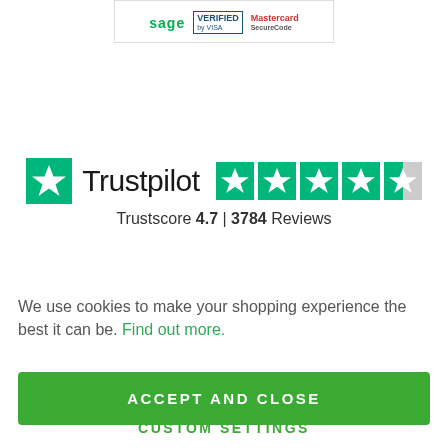[Figure (logo): Payment logos: Sage, Verified by Visa, Mastercard SecureCode]
[Figure (logo): Trustpilot logo with star rating display showing Trustscore 4.7 and 3784 Reviews]
Trustscore 4.7 | 3784 Reviews
We use cookies to make your shopping experience the best it can be. Find out more.
ACCEPT AND CLOSE
CUSTOM SETTINGS